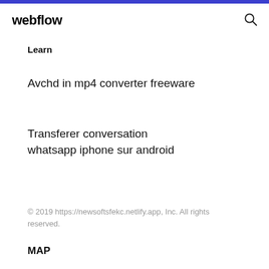webflow
Learn
Avchd in mp4 converter freeware
Transferer conversation whatsapp iphone sur android
© 2019 https://newsoftsfekc.netlify.app, Inc. All rights reserved.
MAP